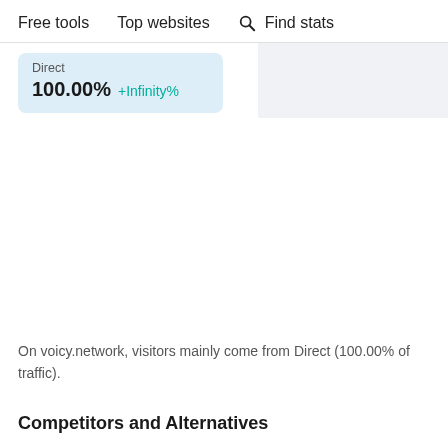Free tools   Top websites   Find stats
Direct
100.00% +Infinity%
On voicy.network, visitors mainly come from Direct (100.00% of traffic).
Competitors and Alternatives